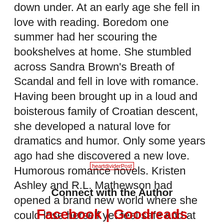down under. At an early age she fell in love with reading. Boredom one summer had her scouring the bookshelves at home. She stumbled across Sandra Brown's Breath of Scandal and fell in love with romance. Having been brought up in a loud and boisterous family of Croatian descent, she developed a natural love for dramatics and humor. Only some years ago had she discovered a new love. Humorous romance novels. Kristen Ashley and R.L. Mathewson had opened a brand new world where she could lose herself yet feel safe and at home in their stories. Belle has been known to become a screeching banshee while anxiously awaiting their newest titles. Belle never thought she would write. It had never interested her until recently. Friend-Zoned began to form and in February this year Belle typed the words Chapter One. And she fell in love. With words. With writing. With a creative imagination she never knew she harbored.
[Figure (other): Heart divider image placeholder labeled heartdividerPost]
Connect with the Author
Facebook | Goodreads